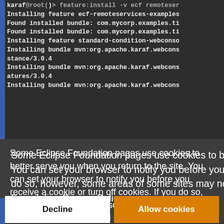[Figure (screenshot): Terminal/console output showing Eclipse Karaf feature installation commands and bundle installation messages in monospace font on dark background]
Some Eclipse Foundation pages use cookies to better serve you when you return to the site. You can set your browser to notify you before you receive a cookie or turn off cookies. If you do so, however, some areas of some sites may not function properly. To read Eclipse Foundation Privacy Policy click here.
[Figure (screenshot): Two buttons: 'Decline' (white background) and 'Allow cookies' (orange background) for cookie consent dialog]
[Figure (screenshot): Bottom terminal strip showing XML property elements with endpoint-id value-type string]